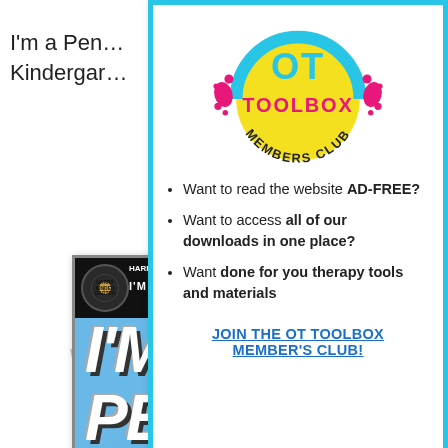I'm a Pen… Kindergar…
[Figure (illustration): Book cover with blue background showing 'I'M A PE…' text in large white bold letters, with a vinyl record graphic and 'HARRY KINDERGARTEN' text at the top]
[Figure (logo): OT Toolbox Members Club circular logo with yellow circle, pink/magenta 'TOOLBOX' text, 'MEMBERS CLUB' around the bottom arc, teal/cyan top arc, and pink paint splatter dots]
Want to read the website AD-FREE?
Want to access all of our downloads in one place?
Want done for you therapy tools and materials
JOIN THE OT TOOLBOX MEMBER'S CLUB!
WINTER
Brain Break